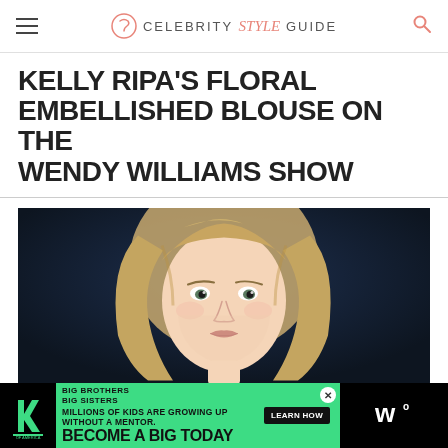Celebrity Style Guide
KELLY RIPA'S FLORAL EMBELLISHED BLOUSE ON THE WENDY WILLIAMS SHOW
[Figure (photo): Close-up photo of Kelly Ripa with blonde hair against a dark blue background]
[Figure (infographic): Big Brothers Big Sisters advertisement banner: 'MILLIONS OF KIDS ARE GROWING UP WITHOUT A MENTOR. BECOME A BIG TODAY' with Learn How button]